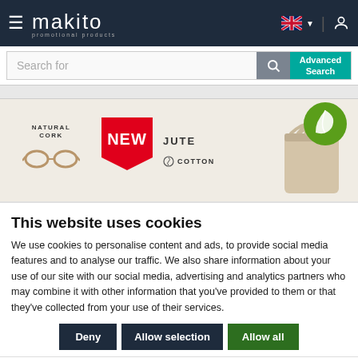makito — website header with hamburger menu, logo, language selector, and user icon
Search for
[Figure (screenshot): Banner showing NATURAL CORK label with cork sunglasses, NEW badge in red, JUTE and COTTON labels, a beige bag, and a green eco leaf badge]
This website uses cookies
We use cookies to personalise content and ads, to provide social media features and to analyse our traffic. We also share information about your use of our site with our social media, advertising and analytics partners who may combine it with other information that you've provided to them or that they've collected from your use of their services.
Deny
Allow selection
Allow all
Necessary  Preferences  Statistics  Marketing  Show details